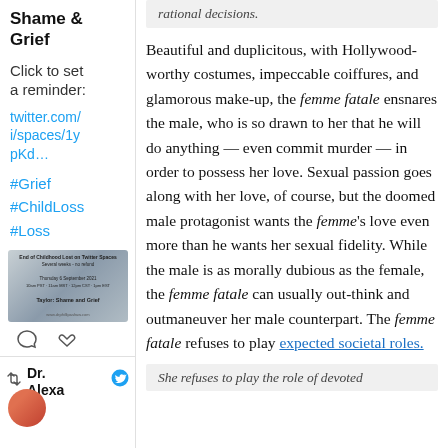Shame & Grief
Click to set a reminder:
twitter.com/i/spaces/1ypKd…
#Grief
#ChildLoss
#Loss
[Figure (other): Event card thumbnail for Twitter Spaces about Grief and Shame]
[Figure (other): Comment and like icons]
Dr. Alexa
rational decisions.
Beautiful and duplicitous, with Hollywood-worthy costumes, impeccable coiffures, and glamorous make-up, the femme fatale ensnares the male, who is so drawn to her that he will do anything — even commit murder — in order to possess her love. Sexual passion goes along with her love, of course, but the doomed male protagonist wants the femme's love even more than he wants her sexual fidelity. While the male is as morally dubious as the female, the femme fatale can usually out-think and outmaneuver her male counterpart. The femme fatale refuses to play expected societal roles.
She refuses to play the role of devoted